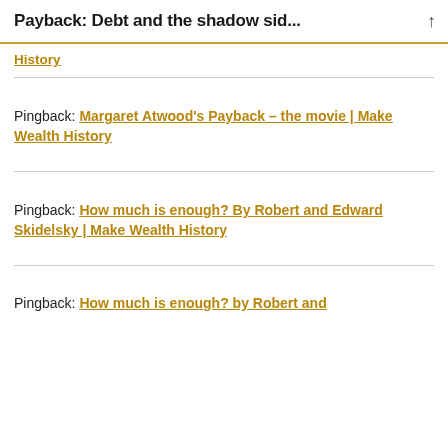Payback: Debt and the shadow sid...
History
Pingback: Margaret Atwood’s Payback – the movie | Make Wealth History
Pingback: How much is enough? By Robert and Edward Skidelsky | Make Wealth History
Pingback: How much is enough? by Robert and